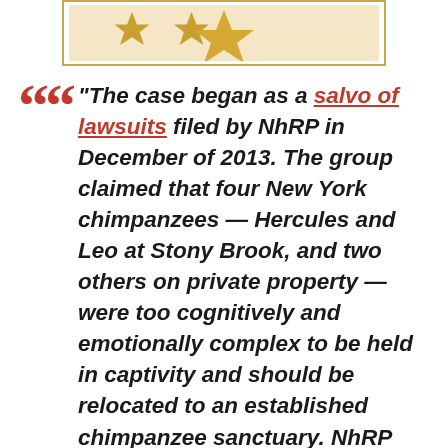[Figure (illustration): Top banner with golden border containing a decorative star/emblem motif on a light background]
"The case began as a salvo of lawsuits filed by NhRP in December of 2013. The group claimed that four New York chimpanzees — Hercules and Leo at Stony Brook, and two others on private property — were too cognitively and emotionally complex to be held in captivity and should be relocated to an established chimpanzee sanctuary. NhRP petitioned three lower court judges with a writ of habeas corpus, which is traditionally used to prevent people from being unlawfully imprisoned. By granting the writ, the